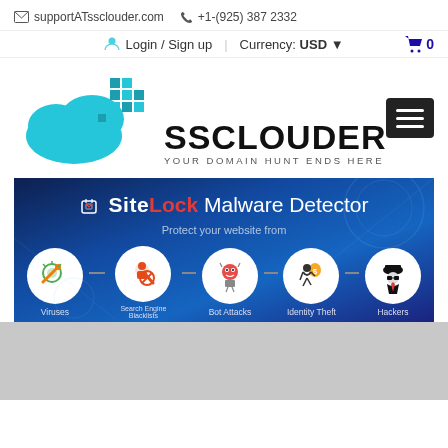supportATssclouder.com  +1-(925) 387 2332
Login / Sign up  |  Currency: USD  0
[Figure (logo): SSCLOUDER cloud logo with teal cloud and pixel art squares, text SSCLOUDER YOUR DOMAIN HUNT ENDS HERE]
[Figure (screenshot): SiteLock Malware Detector banner: Protect your website from Viruses, Search Engine Blacklists, Bot Attacks, Identity Theft, Hackers]